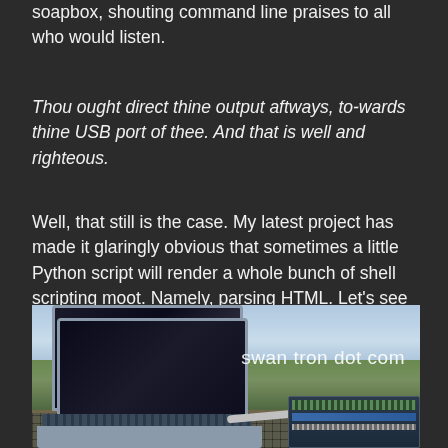soapbox, shouting command line praises to all who would listen.
Thou ought direct thine output aftways, to-wards thine USB port of thee. And that is well and righteous.
Well, that still is the case. My latest project has made it glaringly obvious that sometimes a little Python script will render a whole bunch of shell scripting moot. Namely, parsing HTML. Let’s see a picture…
[Figure (photo): A laptop computer sitting outdoors on a grid-patterned surface (possibly a mat or trunk lid) with a green agricultural field and blue sky in the background. An Arduino or similar electronics board is connected to the laptop via a cable, visible to the right. A watermark reads 'swan tron dot com'.]